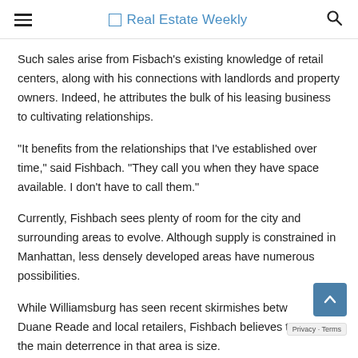Real Estate Weekly
Such sales arise from Fisbach's existing knowledge of retail centers, along with his connections with landlords and property owners. Indeed, he attributes the bulk of his leasing business to cultivating relationships.
“It benefits from the relationships that I’ve established over time,” said Fishbach. “They call you when they have space available. I don’t have to call them.”
Currently, Fishbach sees plenty of room for the city and surrounding areas to evolve. Although supply is constrained in Manhattan, less densely developed areas have numerous possibilities.
While Williamsburg has seen recent skirmishes betw… Duane Reade and local retailers, Fishbach believes t… the main deterrence in that area is size.